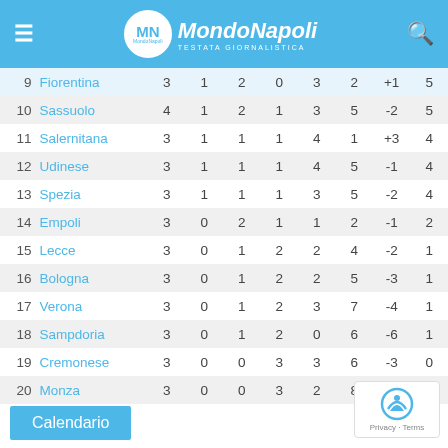MondoNapoli - TESTATA GIORNALISTICA
| # | Team | P | W | D | L | GF | GA | GD | Pts |
| --- | --- | --- | --- | --- | --- | --- | --- | --- | --- |
| 9 | Fiorentina | 3 | 1 | 2 | 0 | 3 | 2 | +1 | 5 |
| 10 | Sassuolo | 4 | 1 | 2 | 1 | 3 | 5 | -2 | 5 |
| 11 | Salernitana | 3 | 1 | 1 | 1 | 4 | 1 | +3 | 4 |
| 12 | Udinese | 3 | 1 | 1 | 1 | 4 | 5 | -1 | 4 |
| 13 | Spezia | 3 | 1 | 1 | 1 | 3 | 5 | -2 | 4 |
| 14 | Empoli | 3 | 0 | 2 | 1 | 1 | 2 | -1 | 2 |
| 15 | Lecce | 3 | 0 | 1 | 2 | 2 | 4 | -2 | 1 |
| 16 | Bologna | 3 | 0 | 1 | 2 | 2 | 5 | -3 | 1 |
| 17 | Verona | 3 | 0 | 1 | 2 | 3 | 7 | -4 | 1 |
| 18 | Sampdoria | 3 | 0 | 1 | 2 | 0 | 6 | -6 | 1 |
| 19 | Cremonese | 3 | 0 | 0 | 3 | 3 | 6 | -3 | 0 |
| 20 | Monza | 3 | 0 | 0 | 3 | 2 | 8 | -6 | 0 |
Calendario